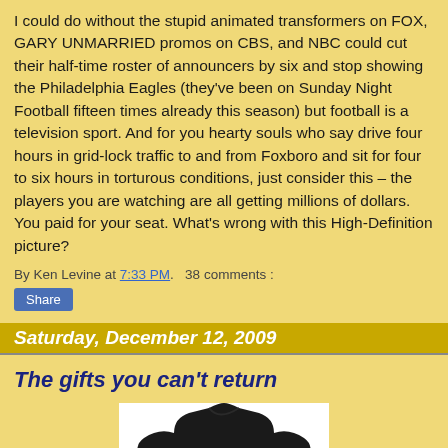I could do without the stupid animated transformers on FOX, GARY UNMARRIED promos on CBS, and NBC could cut their half-time roster of announcers by six and stop showing the Philadelphia Eagles (they've been on Sunday Night Football fifteen times already this season) but football is a television sport. And for you hearty souls who say drive four hours in grid-lock traffic to and from Foxboro and sit for four to six hours in torturous conditions, just consider this – the players you are watching are all getting millions of dollars. You paid for your seat. What's wrong with this High-Definition picture?
By Ken Levine at 7:33 PM.   38 comments :
Share
Saturday, December 12, 2009
The gifts you can't return
[Figure (photo): Photo of a dark/black sweatshirt or sweater on a white background, partially visible at bottom of page]